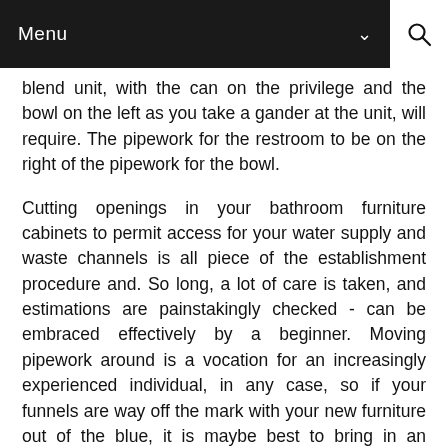Menu
blend unit, with the can on the privilege and the bowl on the left as you take a gander at the unit, will require. The pipework for the restroom to be on the right of the pipework for the bowl.
Cutting openings in your bathroom furniture cabinets to permit access for your water supply and waste channels is all piece of the establishment procedure and. So long, a lot of care is taken, and estimations are painstakingly checked - can be embraced effectively by a beginner. Moving pipework around is a vocation for an increasingly experienced individual, in any case, so if your funnels are way off the mark with your new furniture out of the blue, it is maybe best to bring in an expert.